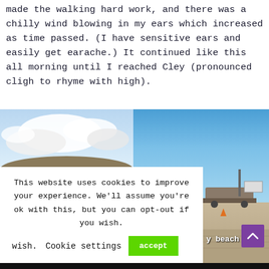made the walking hard work, and there was a chilly wind blowing in my ears which increased as time passed. (I have sensitive ears and easily get earache.) It continued like this all morning until I reached Cley (pronounced cligh to rhyme with high).
[Figure (photo): Sky with clouds over a thatched roof or hillside — left photo]
[Figure (photo): Beach scene with boat on trailer, gravel beach and blue sky — right photo]
This website uses cookies to improve your experience. We'll assume you're ok with this, but you can opt-out if you wish.    Cookie settings    accept
y beach